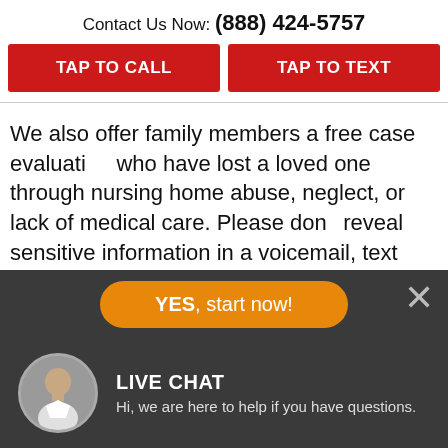Contact Us Now: (888) 424-5757
TAP TO CALL
TAP TO TEXT
We also offer family members a free case evaluation who have lost a loved one through nursing home abuse, neglect, or lack of medical care. Please don't reveal sensitive information in a voicemail, text message, or contact form.
Our nursing home neglect and medical malpractice
YES, start now!
LIVE CHAT
Hi, we are here to help if you have questions.